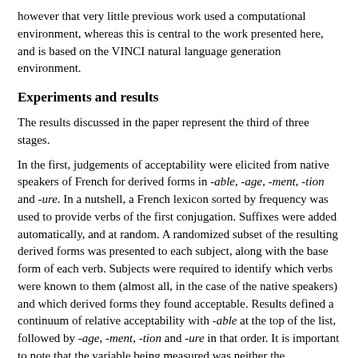however that very little previous work used a computational environment, whereas this is central to the work presented here, and is based on the VINCI natural language generation environment.
Experiments and results
The results discussed in the paper represent the third of three stages.
In the first, judgements of acceptability were elicited from native speakers of French for derived forms in -able, -age, -ment, -tion and -ure. In a nutshell, a French lexicon sorted by frequency was used to provide verbs of the first conjugation. Suffixes were added automatically, and at random. A randomized subset of the resulting derived forms was presented to each subject, along with the base form of each verb. Subjects were required to identify which verbs were known to them (almost all, in the case of the native speakers) and which derived forms they found acceptable. Results defined a continuum of relative acceptability with -able at the top of the list, followed by -age, -ment, -tion and -ure in that order. It is important to note that the variable being measured was neither the correctness of the judgements (whether an existing derived form corresponded to those seen as acceptable) nor the individual lexical items, but rather the ranking of suffixes in terms of the number of